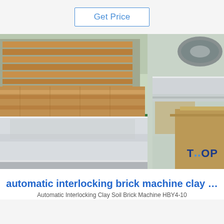Get Price
[Figure (photo): Factory warehouse interior showing stacked metal sheets on wooden pallets on a green floor, with silver/aluminum sheet panels and brown packaging material visible.]
automatic interlocking brick machine clay …
Automatic Interlocking Clay Soil Brick Machine HBY4-10